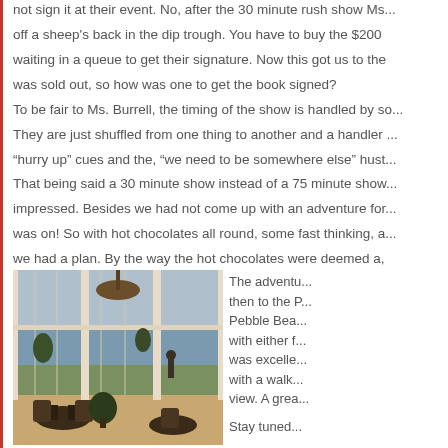not sign it at their event. No, after the 30 minute rush show Ms... off a sheep's back in the dip trough. You have to buy the $200 ... waiting in a queue to get their signature. Now this got us to the ... was sold out, so how was one to get the book signed? To be fair to Ms. Burrell, the timing of the show is handled by so... They are just shuffled from one thing to another and a handler ... "hurry up" cues and the, "we need to be somewhere else" hust... That being said a 30 minute show instead of a 75 minute show ... impressed. Besides we had not come up with an adventure for... was on! So with hot chocolates all round, some fast thinking, a... we had a plan. By the way the hot chocolates were deemed a, scale and ****.
[Figure (photo): Interior of an upscale restaurant or lounge at Pebble Beach with large windows overlooking the ocean and golf course. Dark wicker furniture, pendant lamp, white columns visible.]
The adventure then to the P... Pebble Bea... with either f... was excelle... with a walk... view. A grea... Stay tuned...